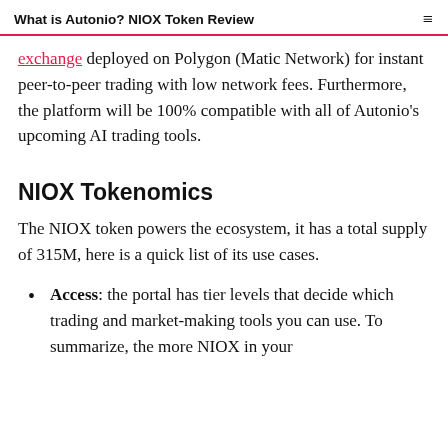What is Autonio? NIOX Token Review
exchange deployed on Polygon (Matic Network) for instant peer-to-peer trading with low network fees. Furthermore, the platform will be 100% compatible with all of Autonio's upcoming AI trading tools.
NIOX Tokenomics
The NIOX token powers the ecosystem, it has a total supply of 315M, here is a quick list of its use cases.
Access: the portal has tier levels that decide which trading and market-making tools you can use. To summarize, the more NIOX in your